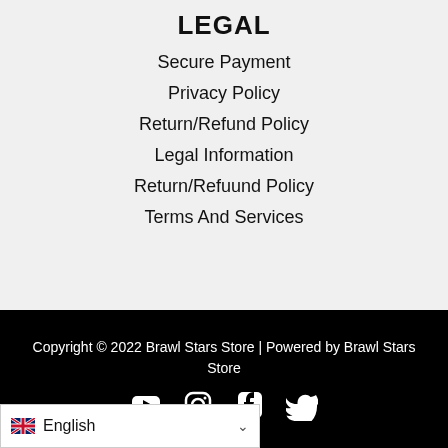LEGAL
Secure Payment
Privacy Policy
Return/Refund Policy
Legal Information
Return/Refuund Policy
Terms And Services
Copyright © 2022 Brawl Stars Store | Powered by Brawl Stars Store
[Figure (other): Social media icons: YouTube, Instagram, Facebook, Twitter]
English